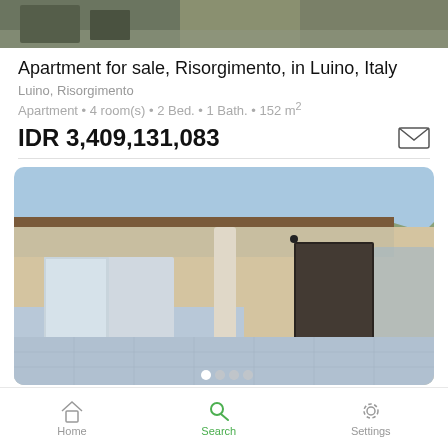[Figure (photo): Top portion of a property photo showing a street/outdoor scene]
Apartment for sale, Risorgimento, in Luino, Italy
Luino, Risorgimento
Apartment • 4 room(s) • 2 Bed. • 1 Bath. • 152 m²
IDR 3,409,131,083
[Figure (photo): Apartment terrace/balcony with tiled floor, white column, sliding glass doors, and mountain view in background]
Apartment for sale, dei Prati, in Luino, Italy
Home  Search  Settings